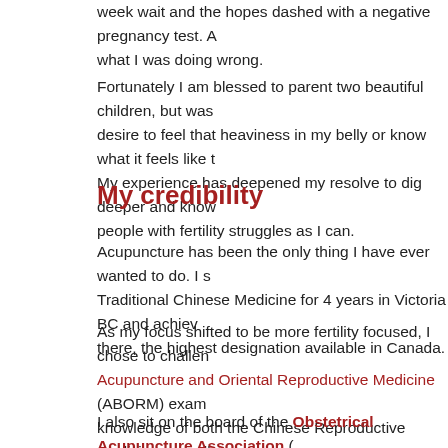week wait and the hopes dashed with a negative pregnancy test. A what I was doing wrong.
Fortunately I am blessed to parent two beautiful children, but was desire to feel that heaviness in my belly or know what it feels like t My experience has deepened my resolve to dig deeper and know people with fertility struggles as I can.
My credibility
Acupuncture has been the only thing I have ever wanted to do. I s Traditional Chinese Medicine for 4 years in Victoria BC and achiev there, the highest designation available in Canada.
As my focus shifted to be more fertility focused, I chose to challen Acupuncture and Oriental Reproductive Medicine (ABORM) exam knowledge of both the Chinese Reproductive medicine as well as offered from Western Reproductive medicine and how to bridge th successful and am currently the only Fellow of the ABORM in Eas
I also sit on the board of the Obstetrical Acupuncture Association ( with the midwifery and doula communities in Toronto and across C